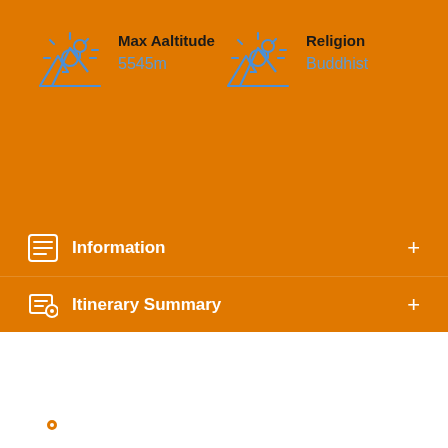[Figure (infographic): Mountain/altitude icon in blue outline style]
Max Aaltitude
5545m
[Figure (infographic): Mountain/altitude icon in blue outline style]
Religion
Buddhist
Information
Itinerary Summary
Cost Includes & Excludes
Cost Dates
Reviews